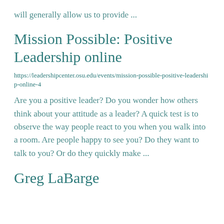will generally allow us to provide ...
Mission Possible: Positive Leadership online
https://leadershipcenter.osu.edu/events/mission-possible-positive-leadership-online-4
Are you a positive leader? Do you wonder how others think about your attitude as a leader? A quick test is to observe the way people react to you when you walk into a room. Are people happy to see you? Do they want to talk to you? Or do they quickly make ...
Greg LaBarge